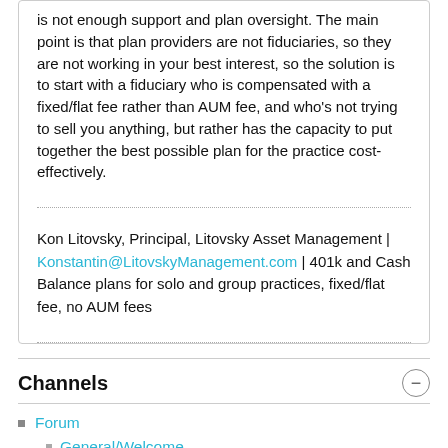is not enough support and plan oversight. The main point is that plan providers are not fiduciaries, so they are not working in your best interest, so the solution is to start with a fiduciary who is compensated with a fixed/flat fee rather than AUM fee, and who's not trying to sell you anything, but rather has the capacity to put together the best possible plan for the practice cost-effectively.
Kon Litovsky, Principal, Litovsky Asset Management | Konstantin@LitovskyManagement.com | 401k and Cash Balance plans for solo and group practices, fixed/flat fee, no AUM fees
Channels
Forum
General/Welcome
Personal Finance and Budgeting
General Investing
Retirement Accounts
Insurance
Student Loan Management
Tax Reduction